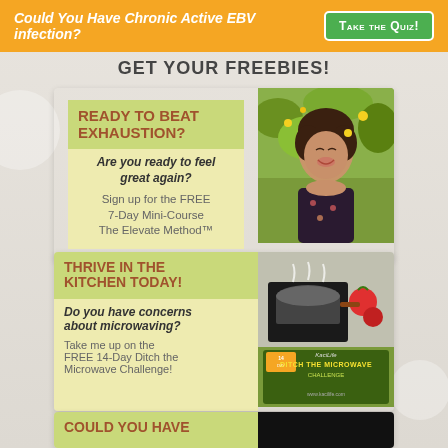Could You Have Chronic Active EBV infection?  TAKE THE QUIZ!
GET YOUR FREEBIES!
[Figure (infographic): Promotional banner for free 7-Day Mini-Course 'The Elevate Method'. Left panel has green/yellow background with text: 'READY TO BEAT EXHAUSTION?' (brown heading), 'Are you ready to feel great again?' (italic), 'Sign up for the FREE 7-Day Mini-Course The Elevate Method™'. Right panel shows a smiling woman outdoors with flowers.]
[Figure (infographic): Promotional banner for free 14-Day Ditch the Microwave Challenge. Left panel has green/yellow background with text: 'THRIVE IN THE KITCHEN TODAY!' (brown heading), 'Do you have concerns about microwaving?' (italic), 'Take me up on the FREE 14-Day Ditch the Microwave Challenge!'. Right panel shows a pot on stove and a '14 Day Ditch the Microwave Challenge' book cover.]
[Figure (infographic): Partial promotional banner visible at bottom: 'COULD YOU HAVE' text visible on green/yellow left panel.]